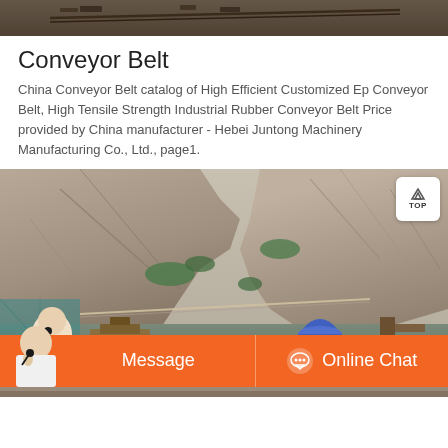[Figure (photo): Top cropped photo showing conveyor belt on rocky industrial terrain]
Conveyor Belt
China Conveyor Belt catalog of High Efficient Customized Ep Conveyor Belt, High Tensile Strength Industrial Rubber Conveyor Belt Price provided by China manufacturer - Hebei Juntong Machinery Manufacturing Co., Ltd., page1.
[Figure (photo): Quarry or mining site photo showing rocky cliff face with machinery and equipment at base, with orange Message and Online Chat bar overlay at bottom, and TOP navigation button at top right]